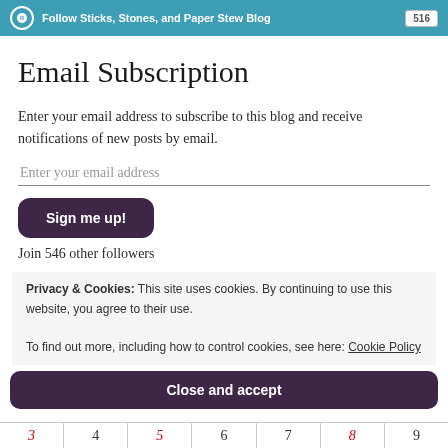Follow Sticks, Stones, and Paper Stew Blog   516
Email Subscription
Enter your email address to subscribe to this blog and receive notifications of new posts by email.
Enter your email address
Sign me up!
Join 546 other followers
Privacy & Cookies: This site uses cookies. By continuing to use this website, you agree to their use.
To find out more, including how to control cookies, see here: Cookie Policy
Close and accept
3  4  5  6  7  8  9